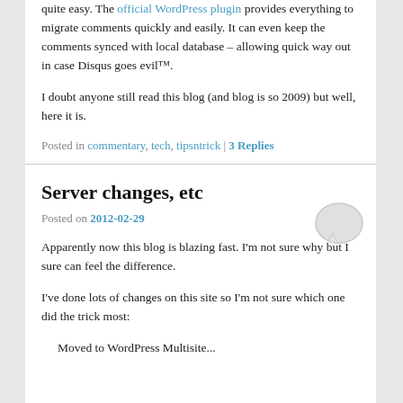quite easy. The official WordPress plugin provides everything to migrate comments quickly and easily. It can even keep the comments synced with local database – allowing quick way out in case Disqus goes evil™.
I doubt anyone still read this blog (and blog is so 2009) but well, here it is.
Posted in commentary, tech, tipsntrick | 3 Replies
Server changes, etc
Posted on 2012-02-29
Apparently now this blog is blazing fast. I'm not sure why but I sure can feel the difference.
I've done lots of changes on this site so I'm not sure which one did the trick most:
Moved to WordPress Multisite...